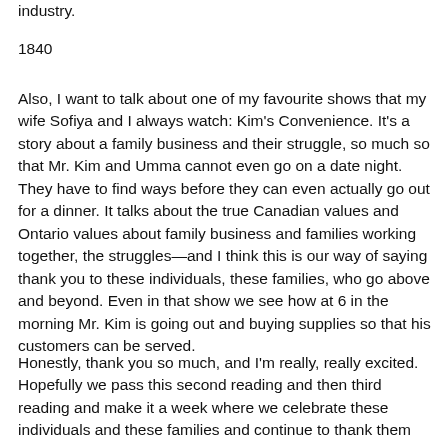industry.
1840
Also, I want to talk about one of my favourite shows that my wife Sofiya and I always watch: Kim's Convenience. It's a story about a family business and their struggle, so much so that Mr. Kim and Umma cannot even go on a date night. They have to find ways before they can even actually go out for a dinner. It talks about the true Canadian values and Ontario values about family business and families working together, the struggles—and I think this is our way of saying thank you to these individuals, these families, who go above and beyond. Even in that show we see how at 6 in the morning Mr. Kim is going out and buying supplies so that his customers can be served.
Honestly, thank you so much, and I'm really, really excited. Hopefully we pass this second reading and then third reading and make it a week where we celebrate these individuals and these families and continue to thank them